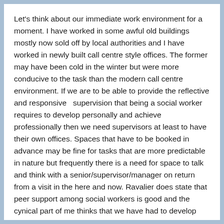Let's think about our immediate work environment for a moment. I have worked in some awful old buildings mostly now sold off by local authorities and I have worked in newly built call centre style offices. The former may have been cold in the winter but were more conducive to the task than the modern call centre environment. If we are to be able to provide the reflective and responsive  supervision that being a social worker requires to develop personally and achieve professionally then we need supervisors at least to have their own offices. Spaces that have to be booked in advance may be fine for tasks that are more predictable in nature but frequently there is a need for space to talk and think with a senior/supervisor/manager on return from a visit in the here and now. Ravalier does state that peer support among social workers is good and the cynical part of me thinks that we have had to develop